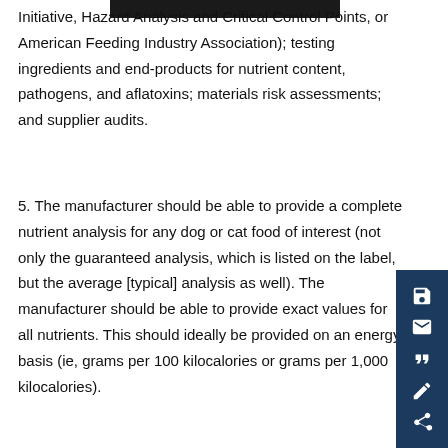Initiative, Hazard Analysis and Critical Control Points, or American Feeding Industry Association); testing ingredients and end-products for nutrient content, pathogens, and aflatoxins; materials risk assessments; and supplier audits.
5. The manufacturer should be able to provide a complete nutrient analysis for any dog or cat food of interest (not only the guaranteed analysis, which is listed on the label, but the average [typical] analysis as well). The manufacturer should be able to provide exact values for all nutrients. This should ideally be provided on an energy basis (ie, grams per 100 kilocalories or grams per 1,000 kilocalories).